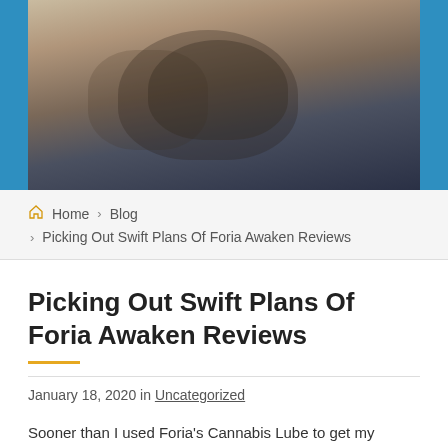[Figure (photo): Banner photo of a person, partially visible, with dark and warm tones. Blue sidebars on left and right.]
Home > Blog > Picking Out Swift Plans Of Foria Awaken Reviews
Picking Out Swift Plans Of Foria Awaken Reviews
January 18, 2020 in Uncategorized
Sooner than I used Foria's Cannabis Lube to get my vagina excessive for the first time, I had a lot of ideas working via